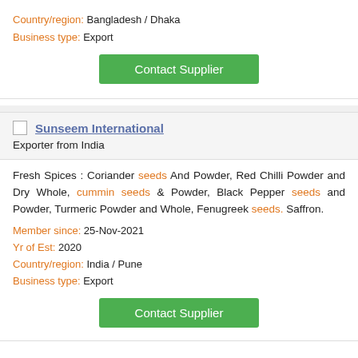Country/region: Bangladesh / Dhaka
Business type: Export
Contact Supplier
Sunseem International
Exporter from India
Fresh Spices : Coriander seeds And Powder, Red Chilli Powder and Dry Whole, cummin seeds & Powder, Black Pepper seeds and Powder, Turmeric Powder and Whole, Fenugreek seeds. Saffron.
Member since: 25-Nov-2021
Yr of Est: 2020
Country/region: India / Pune
Business type: Export
Contact Supplier